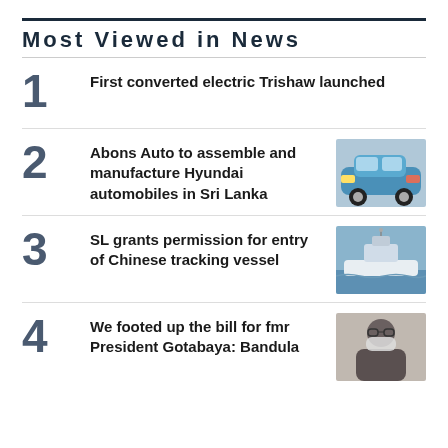Most Viewed in News
1 First converted electric Trishaw launched
2 Abons Auto to assemble and manufacture Hyundai automobiles in Sri Lanka
3 SL grants permission for entry of Chinese tracking vessel
4 We footed up the bill for fmr President Gotabaya: Bandula